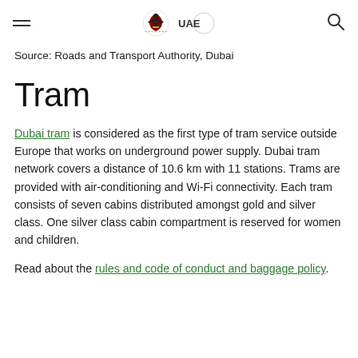[UAE Government portal header with hamburger menu, UAE logo, and search icon]
Source: Roads and Transport Authority, Dubai
Tram
Dubai tram is considered as the first type of tram service outside Europe that works on underground power supply. Dubai tram network covers a distance of 10.6 km with 11 stations. Trams are provided with air-conditioning and Wi-Fi connectivity. Each tram consists of seven cabins distributed amongst gold and silver class. One silver class cabin compartment is reserved for women and children.
Read about the rules and code of conduct and baggage policy.